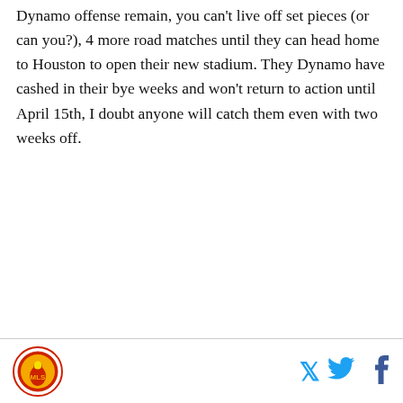Dynamo offense remain, you can't live off set pieces (or can you?), 4 more road matches until they can head home to Houston to open their new stadium. They Dynamo have cashed in their bye weeks and won't return to action until April 15th, I doubt anyone will catch them even with two weeks off.
[Figure (logo): Dynamo or sports blog logo — circular badge with orange/red border and a figure graphic inside]